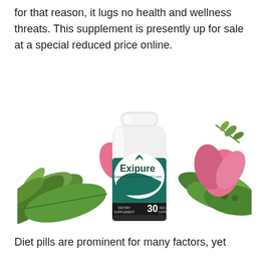for that reason, it lugs no health and wellness threats. This supplement is presently up for sale at a special reduced price online.
[Figure (photo): Exipure dietary supplement bottle (30 capsules, Supports Healthy Weight Loss) surrounded by tropical green leaves and pink flowers on a white background.]
Diet pills are prominent for many factors, yet